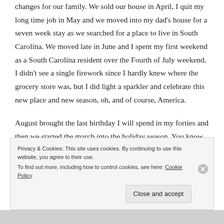changes for our family.  We sold our house in April, I quit my long time job in May and we moved into my dad's house for a seven week stay as we searched for a place to live in South Carolina.  We moved late in June and I spent my first weekend as a South Carolina resident over the Fourth of July weekend.  I didn't see a single firework since I hardly knew where the grocery store was, but I did light a sparkler and celebrate this new place and new season, oh, and of course, America.
August brought the last birthday I will spend in my forties and then we started the march into the holiday season.  You know autumn, here, at the base of the Blue Ridge Mountains, is
Privacy & Cookies: This site uses cookies. By continuing to use this website, you agree to their use.
To find out more, including how to control cookies, see here: Cookie Policy
Close and accept